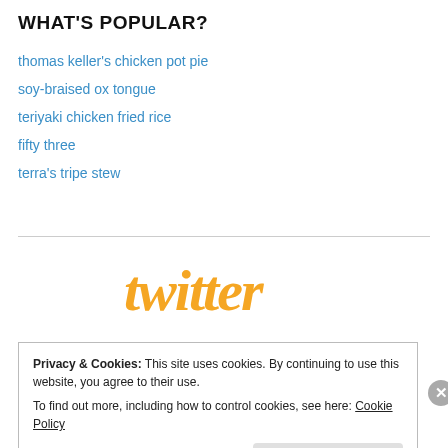WHAT'S POPULAR?
thomas keller's chicken pot pie
soy-braised ox tongue
teriyaki chicken fried rice
fifty three
terra's tripe stew
[Figure (logo): Twitter logo in orange script font]
Privacy & Cookies: This site uses cookies. By continuing to use this website, you agree to their use. To find out more, including how to control cookies, see here: Cookie Policy
Close and accept